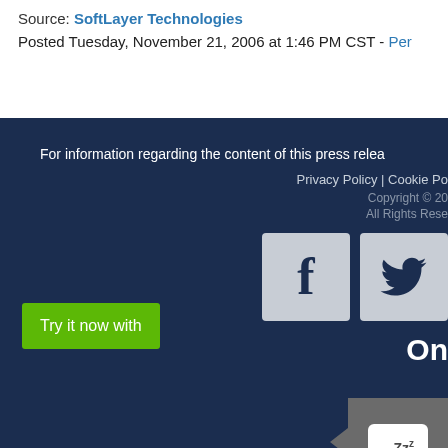Source: SoftLayer Technologies
Posted Tuesday, November 21, 2006 at 1:46 PM CST - Per
For information regarding the content of this press relea
Privacy Policy | Cookie Po
Copyright © 20
All Rights Rese
[Figure (logo): Facebook icon - grey square with white 'f' logo]
[Figure (logo): Twitter bird icon - grey square with dark bird logo]
Try it now with
On
[Figure (other): Chat widget - grey box with speech bubble and Zzz icon]